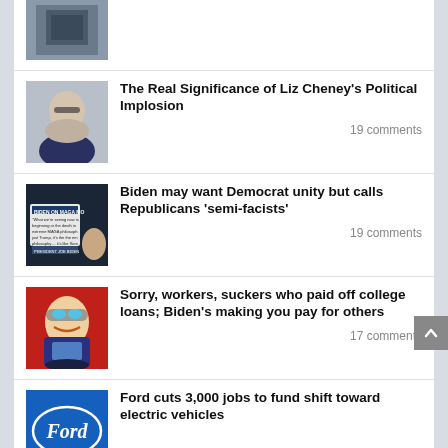[Figure (photo): Partial top article image (cropped, dark/grayish scene)]
The Real Significance of Liz Cheney's Political Implosion
19 comments
[Figure (photo): Biden on MAGA movement — screenshot of news segment with Biden speaking and text overlay]
Biden may want Democrat unity but calls Republicans 'semi-facists'
19 comments
[Figure (illustration): Cartoon illustration of Biden with sunglasses on red background]
Sorry, workers, suckers who paid off college loans; Biden's making you pay for others
17 comments
[Figure (logo): Ford logo on blue background]
Ford cuts 3,000 jobs to fund shift toward electric vehicles